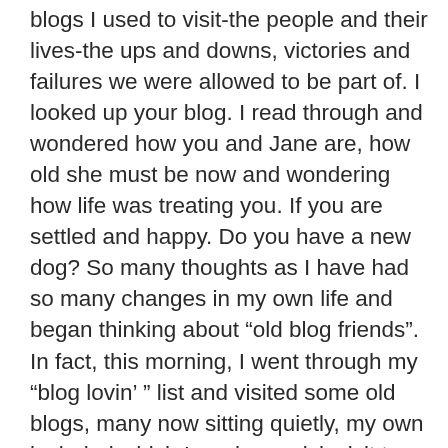blogs I used to visit-the people and their lives-the ups and downs, victories and failures we were allowed to be part of. I looked up your blog. I read through and wondered how you and Jane are, how old she must be now and wondering how life was treating you. If you are settled and happy. Do you have a new dog? So many thoughts as I have had so many changes in my own life and began thinking about “old blog friends”. In fact, this morning, I went through my “blog lovin’ ” list and visited some old blogs, many now sitting quietly, my own included which I made a quick visit to and shut it down to the public. I may rethink that. Apologies for the long comment but such strange timing! Thanks for the update. Thanks for all the enjoyment and connection you brought to many of us in different stages of life going through our own